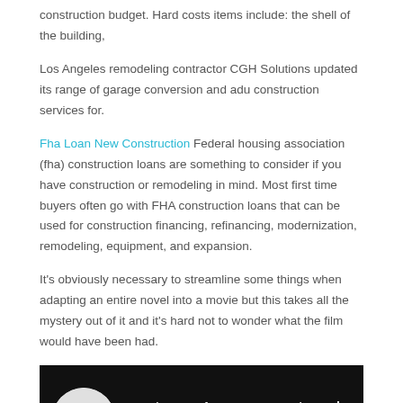construction budget. Hard costs items include: the shell of the building,
Los Angeles remodeling contractor CGH Solutions updated its range of garage conversion and adu construction services for.
Fha Loan New Construction Federal housing association (fha) construction loans are something to consider if you have construction or remodeling in mind. Most first time buyers often go with FHA construction loans that can be used for construction financing, refinancing, modernization, remodeling, equipment, and expansion.
It's obviously necessary to streamline some things when adapting an entire novel into a movie but this takes all the mystery out of it and it's hard not to wonder what the film would have been had.
[Figure (screenshot): A YouTube video thumbnail showing 'Hard Hat Safety Demo' with a circular logo, three-dot menu, and a cyan scroll-to-top button in the bottom right corner, on a dark background.]